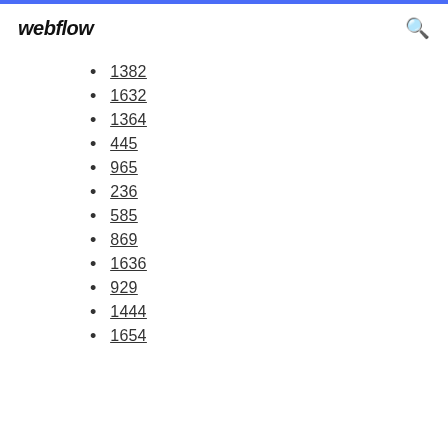webflow
1382
1632
1364
445
965
236
585
869
1636
929
1444
1654